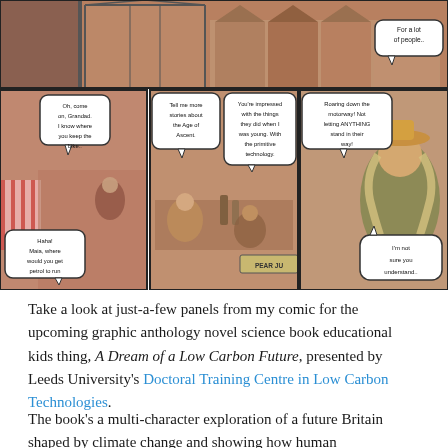[Figure (illustration): Comic panels from 'A Dream of a Low Carbon Future'. Top strip shows a market/settlement scene with speech bubble 'For a lot of people..'. Bottom row has three panels: left panel shows a market scene with characters and speech bubbles 'Oh, come on, Grandad. I know where you keep the bike..' and 'Haha! Maia, where would you get petrol to run the thing?'; middle panel shows characters at a table with speech bubbles 'Tell me more stories about the Age of Ascent.' and 'You're impressed with the things they did when I was young. With the primitive technology.'; right panel shows a woman in a hat with speech bubbles 'Roaring down the motorway! Not letting ANYTHING stand in their way!' and 'I'm not sure you understand..']
Take a look at just-a-few panels from my comic for the upcoming graphic anthology novel science book educational kids thing, A Dream of a Low Carbon Future, presented by Leeds University's Doctoral Training Centre in Low Carbon Technologies.
The book's a multi-character exploration of a future Britain shaped by climate change and showing how human